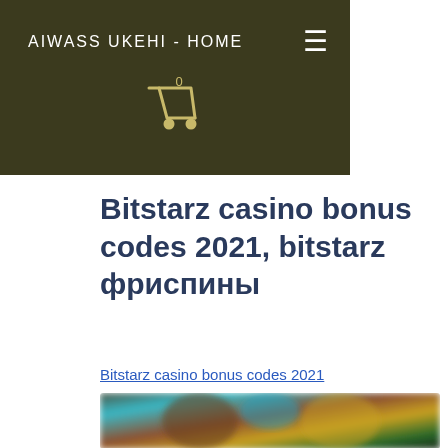AIWASS UKEHI - HOME
Bitstarz casino bonus codes 2021, bitstarz фриспины
Bitstarz casino bonus codes 2021
[Figure (photo): Blurred screenshot of a casino website with colorful characters and game graphics]